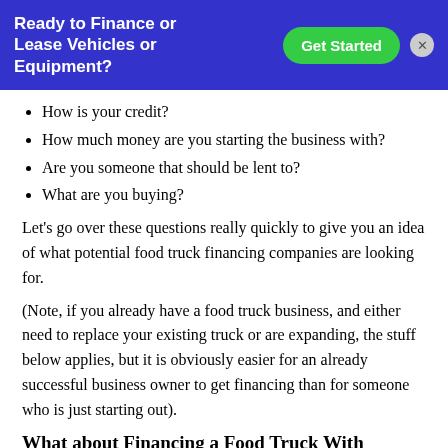[Figure (other): Advertisement banner: 'Ready to Finance or Lease Vehicles or Equipment?' with a green 'Get Started' button and a close X button on blue background.]
How is your credit?
How much money are you starting the business with?
Are you someone that should be lent to?
What are you buying?
Let's go over these questions really quickly to give you an idea of what potential food truck financing companies are looking for.
(Note, if you already have a food truck business, and either need to replace your existing truck or are expanding, the stuff below applies, but it is obviously easier for an already successful business owner to get financing than for someone who is just starting out).
What about Financing a Food Truck With Bad Credit?